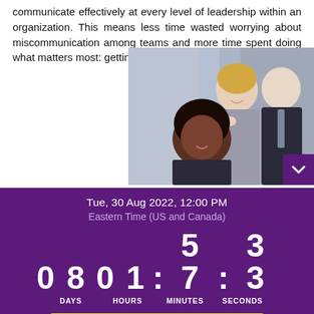communicate effectively at every level of leadership within an organization. This means less time wasted worrying about miscommunication among teams and more time spent doing what matters most: getting work done!
[Figure (photo): Three smiling business professionals (two women, one man) collaborating together, likely in an office or meeting room setting.]
Tue, 30 Aug 2022, 12:00 PM
Eastern Time (US and Canada)
08  01 : 57 : 33  DAYS  HOURS  MINUTES  SECONDS
REGISTER TO SECURE YOUR GIFT